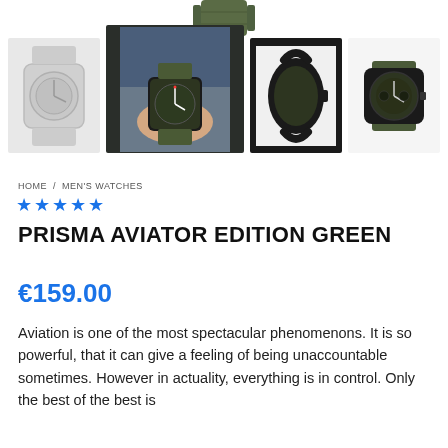[Figure (photo): Top strap detail of a green leather watch strap, shown at the top center of the gallery]
[Figure (photo): Four thumbnail watch photos: 1) faded/ghost view of chronograph watch, 2) watch on wrist with green strap worn with denim jacket, 3) side profile of watch with black case and dark band, 4) front view of watch with dark dial and green strap]
HOME / MEN'S WATCHES
★★★★★
PRISMA AVIATOR EDITION GREEN
€159.00
Aviation is one of the most spectacular phenomenons. It is so powerful, that it can give a feeling of being unaccountable sometimes. However in actuality, everything is in control. Only the best of the best is